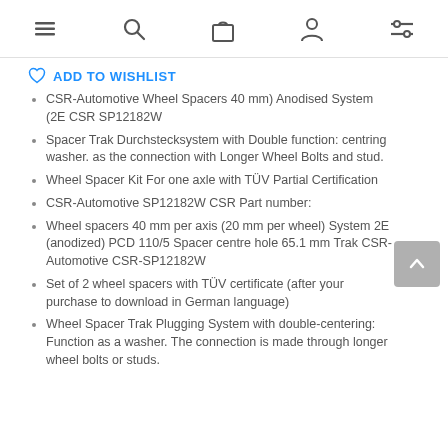Navigation bar with menu, search, cart, account, and filter icons
ADD TO WISHLIST
CSR-Automotive Wheel Spacers 40 mm) Anodised System (2E CSR SP12182W
Spacer Trak Durchstecksystem with Double function: centring washer. as the connection with Longer Wheel Bolts and stud.
Wheel Spacer Kit For one axle with TÜV Partial Certification
CSR-Automotive SP12182W CSR Part number:
Wheel spacers 40 mm per axis (20 mm per wheel) System 2E (anodized) PCD 110/5 Spacer centre hole 65.1 mm Trak CSR-Automotive CSR-SP12182W
Set of 2 wheel spacers with TÜV certificate (after your purchase to download in German language)
Wheel Spacer Trak Plugging System with double-centering: Function as a washer. The connection is made through longer wheel bolts or studs.